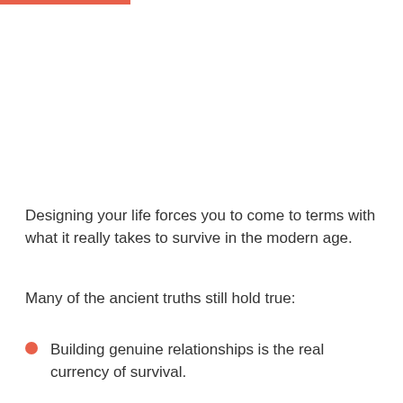Designing your life forces you to come to terms with what it really takes to survive in the modern age.
Many of the ancient truths still hold true:
Building genuine relationships is the real currency of survival.